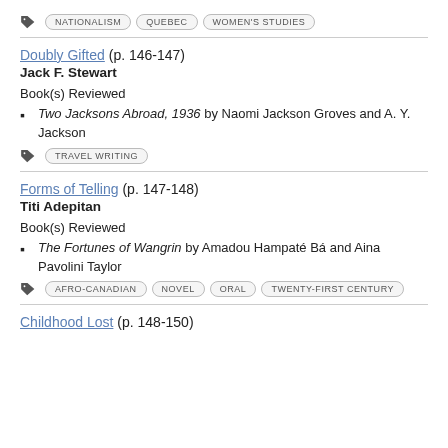NATIONALISM   QUEBEC   WOMEN'S STUDIES
Doubly Gifted (p. 146-147)
Jack F. Stewart
Book(s) Reviewed
Two Jacksons Abroad, 1936 by Naomi Jackson Groves and A. Y. Jackson
TRAVEL WRITING
Forms of Telling (p. 147-148)
Titi Adepitan
Book(s) Reviewed
The Fortunes of Wangrin by Amadou Hampaté Bá and Aina Pavolini Taylor
AFRO-CANADIAN   NOVEL   ORAL   TWENTY-FIRST CENTURY
Childhood Lost (p. 148-150)